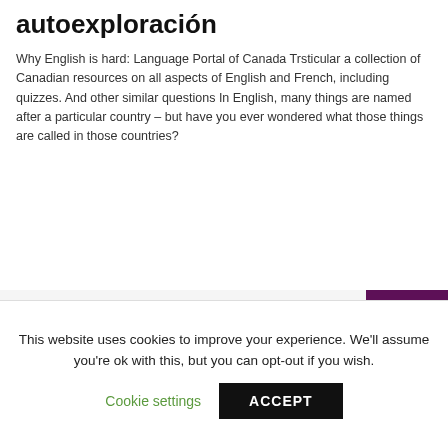autoexploración
Why English is hard: Language Portal of Canada Trsticular a collection of Canadian resources on all aspects of English and French, including quizzes. And other similar questions In English, many things are named after a particular country – but have you ever wondered what those things are called in those countries?
[Figure (screenshot): Screenshot of a medical slide showing 'CUADRO CLÍNICO' title in orange italic text, a bullet point 'Molestia o dolor testicular', an anatomical diagram of testicular anatomy on the right, and a purple bar on the far right edge.]
This website uses cookies to improve your experience. We'll assume you're ok with this, but you can opt-out if you wish.
Cookie settings    ACCEPT